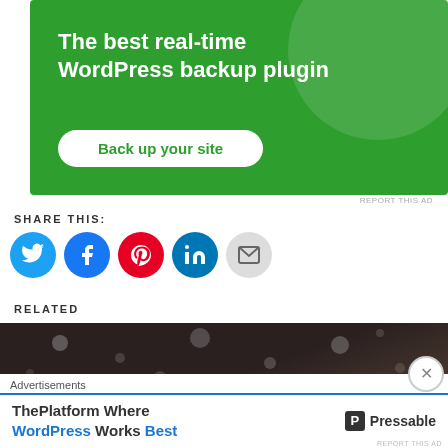[Figure (screenshot): Green advertisement banner for a WordPress backup plugin with text 'The best real-time WordPress backup plugin' and a 'Back up your site' button]
REPORT THIS AD
SHARE THIS:
[Figure (screenshot): Social share icons: Twitter (blue), Facebook (blue), Pinterest (red), LinkedIn (blue), Email (gray)]
RELATED
[Figure (photo): Dark blurred photo of a keyboard or electronic board]
[Figure (screenshot): Bottom advertisement bar: 'Advertisements' label, then ad reading 'ThePlatform Where WordPress Works Best' with Pressable logo, and an X close button]